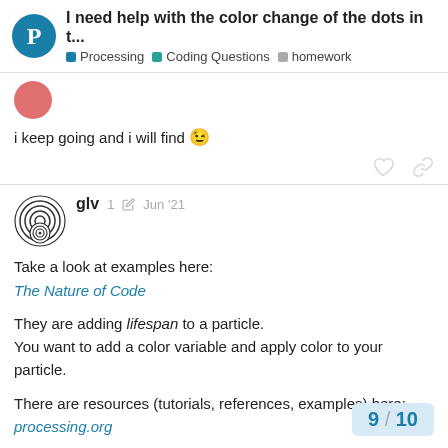I need help with the color change of the dots in t... | Processing | Coding Questions | homework
i keep going and i will find 😉
glv   1 ✏  Jun '21
Take a look at examples here:
The Nature of Code
They are adding lifespan to a particle.
You want to add a color variable and apply color to your particle.
There are resources (tutorials, references, examples) here:
processing.org
One reference is color:
color() | Language (API) | Processing 3+
9 / 10